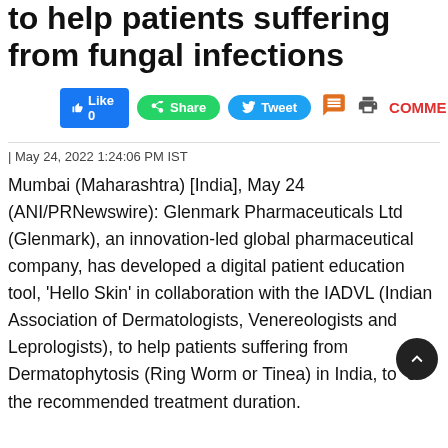India's first WhatsApp based chatbot to help patients suffering from fungal infections
[Figure (other): Social sharing buttons: Like 0 (Facebook), Share (WhatsApp), Tweet (Twitter), comment icon, print icon, COMME... text]
| May 24, 2022 1:24:06 PM IST
Mumbai (Maharashtra) [India], May 24 (ANI/PRNewswire): Glenmark Pharmaceuticals Ltd (Glenmark), an innovation-led global pharmaceutical company, has developed a digital patient education tool, 'Hello Skin' in collaboration with the IADVL (Indian Association of Dermatologists, Venereologists and Leprologists), to help patients suffering from Dermatophytosis (Ring Worm or Tinea) in India, to adhere to the recommended treatment duration.